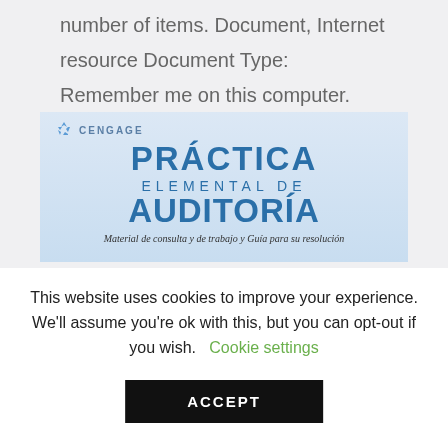number of items. Document, Internet resource Document Type: Remember me on this computer.
[Figure (illustration): Book cover for 'Práctica Elemental de Auditoría' published by Cengage, with subtitle 'Material de consulta y de trabajo y Guía para su resolución']
This website uses cookies to improve your experience. We'll assume you're ok with this, but you can opt-out if you wish.  Cookie settings
ACCEPT